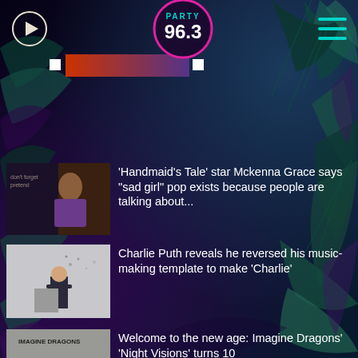[Figure (logo): Party 96.3 radio station logo - circular badge with pink border, teal PARTY text, white 96.3 text]
[Figure (screenshot): Mobile app screenshot showing radio news feed on dark palm leaf background]
'Handmaid's Tale' star Mckenna Grace says "sad girl" pop exists because people are talking about...
Charlie Puth reveals he reversed his music-making template to make 'Charlie'
Welcome to the new age: Imagine Dragons' 'Night Visions' turns 10
Alicia Keys speaks out after fan grabs and kisses